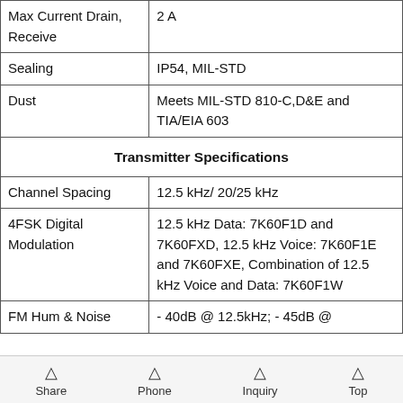| Parameter | Value |
| --- | --- |
| Max Current Drain, Receive | 2 A |
| Sealing | IP54, MIL-STD |
| Dust | Meets MIL-STD 810-C,D&E and TIA/EIA 603 |
| Transmitter Specifications |  |
| Channel Spacing | 12.5 kHz/ 20/25 kHz |
| 4FSK Digital Modulation | 12.5 kHz Data: 7K60F1D and 7K60FXD, 12.5 kHz Voice: 7K60F1E and 7K60FXE, Combination of 12.5 kHz Voice and Data: 7K60F1W |
| FM Hum & Noise | - 40dB @ 12.5kHz; - 45dB @… |
Share  Phone  Inquiry  Top